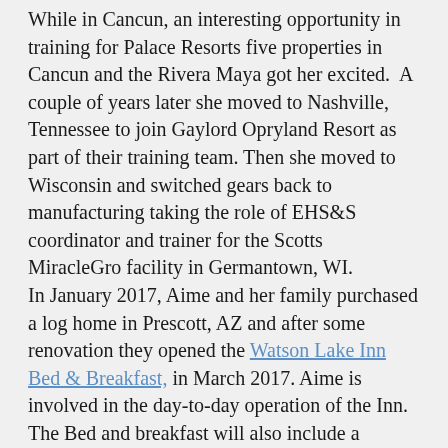While in Cancun, an interesting opportunity in training for Palace Resorts five properties in Cancun and the Rivera Maya got her excited. A couple of years later she moved to Nashville, Tennessee to join Gaylord Opryland Resort as part of their training team. Then she moved to Wisconsin and switched gears back to manufacturing taking the role of EHS&S coordinator and trainer for the Scotts MiracleGro facility in Germantown, WI. In January 2017, Aime and her family purchased a log home in Prescott, AZ and after some renovation they opened the Watson Lake Inn Bed & Breakfast, in March 2017. Aime is involved in the day-to-day operation of the Inn. The Bed and breakfast will also include a cooking school which Peter will instruct. Classes will be small, hands-on and demonstration with focus on using local products, including produce and fruit from the Watson Lake Inn gardens.